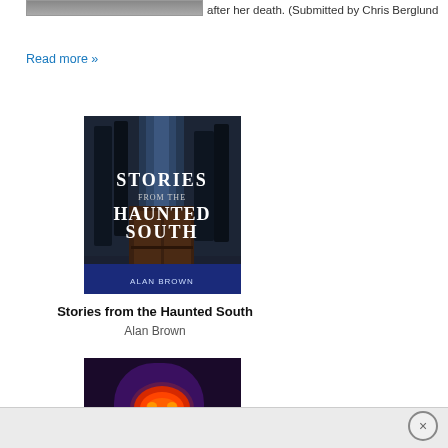after her death. (Submitted by Chris Berglund
Read more »
[Figure (illustration): Book cover: Stories from the Haunted South by Alan Brown — dark gothic image of trees and a doorway with title text]
Stories from the Haunted South
Alan Brown
[Figure (illustration): Book cover: Haunted Schools — showing a figure with a glowing red mask/face against a dark background]
× (close button)